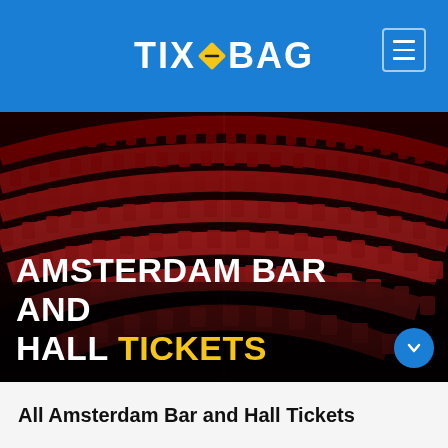TIX BAG
[Figure (photo): Interior of a theatre/concert hall showing curved rows of empty red seats viewed from the stage, with the Amsterdam Bar and Hall Tickets title overlay]
AMSTERDAM BAR AND HALL TICKETS
All Amsterdam Bar and Hall Tickets